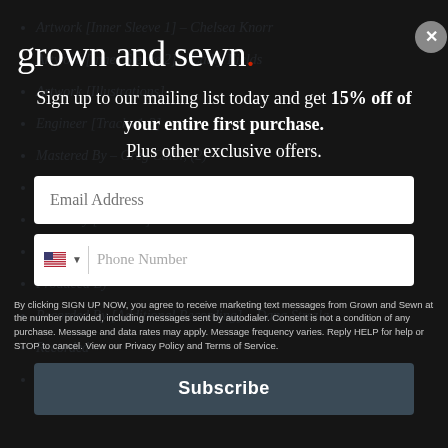[Figure (screenshot): Background page content showing a bulleted list of credits (artwork, engineering, mastering, mixed by, performers, etc.) in italic teal/blue text on dark background, partially visible behind popup overlay]
grown and sewn.
Sign up to our mailing list today and get 15% off of your entire first purchase. Plus other exclusive offers.
Email Address (input field)
Phone Number (input field with US flag selector)
By clicking SIGN UP NOW, you agree to receive marketing text messages from Grown and Sewn at the number provided, including messages sent by autodialer. Consent is not a condition of any purchase. Message and data rates may apply. Message frequency varies. Reply HELP for help or STOP to cancel. View our Privacy Policy and Terms of Service.
Subscribe (button)